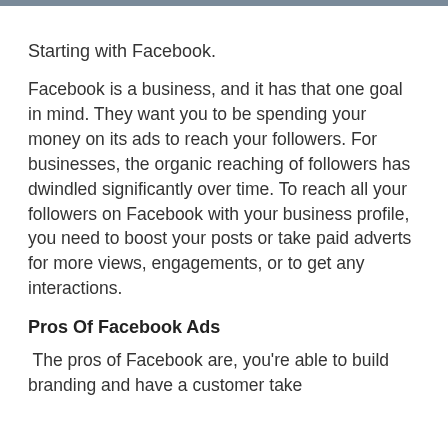Starting with Facebook.
Facebook is a business, and it has that one goal in mind. They want you to be spending your money on its ads to reach your followers. For businesses, the organic reaching of followers has dwindled significantly over time. To reach all your followers on Facebook with your business profile, you need to boost your posts or take paid adverts for more views, engagements, or to get any interactions.
Pros Of Facebook Ads
The pros of Facebook are, you're able to build branding and have a customer take